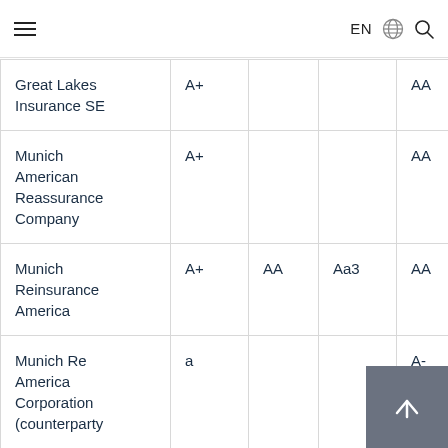EN [globe icon] [search icon]
| Company | Col2 | Col3 | Col4 | Col5 |
| --- | --- | --- | --- | --- |
| Great Lakes Insurance SE | A+ |  |  | AA |
| Munich American Reassurance Company | A+ |  |  | AA |
| Munich Reinsurance America | A+ | AA | Aa3 | AA |
| Munich Re America Corporation (counterparty | a |  |  | A- |